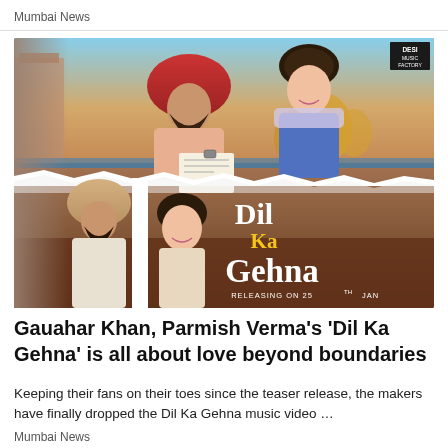Mumbai News
[Figure (photo): Movie promotional poster for 'Dil Ka Gehna' featuring Gauahar Khan and Parmish Verma. Top half shows a man in red turban and a woman reading a letter together outdoors near a golden temple. Bottom half shows the couple walking together. Title text 'Dil Ka Gehna' is shown on the right side with 'Releasing on 25th Jan'. Desi Music Factory logo in top right corner.]
Gauahar Khan, Parmish Verma's 'Dil Ka Gehna' is all about love beyond boundaries
Keeping their fans on their toes since the teaser release, the makers have finally dropped the Dil Ka Gehna music video …
Mumbai News